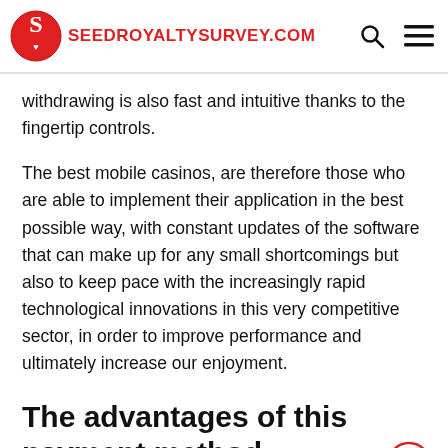SEEDROYALTYSURVEY.COM
withdrawing is also fast and intuitive thanks to the fingertip controls.
The best mobile casinos, are therefore those who are able to implement their application in the best possible way, with constant updates of the software that can make up for any small shortcomings but also to keep pace with the increasingly rapid technological innovations in this very competitive sector, in order to improve performance and ultimately increase our enjoyment.
The advantages of this payment method